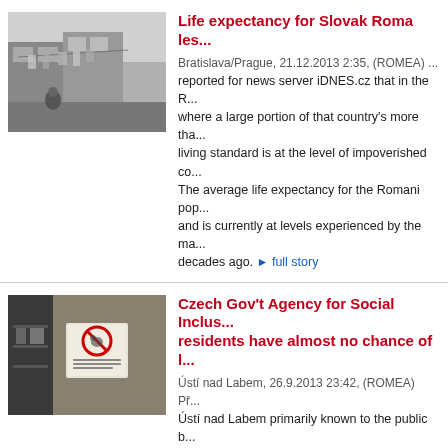[Figure (photo): Black and white photo of a Roma settlement with laundry hanging outside a building, a person sitting in the foreground]
Life expectancy for Slovak Roma les...
Bratislava/Prague, 21.12.2013 2:35, (ROMEA) ...reported for news server iDNES.cz that in the R... where a large portion of that country's more tha... living standard is at the level of impoverished co... The average life expectancy for the Romani pop... and is currently at levels experienced by the ma... decades ago. ▶ full story
[Figure (photo): Photo of a building wall with a no-entry/rodent warning sign posted on it, shelves visible in background]
Czech Gov't Agency for Social Inclus... residents have almost no chance of l...
Ústí nad Labem, 26.9.2013 23:42, (ROMEA) Př... Ústí nad Labem primarily known to the public b... threaten the lives of their tenants and its proble... has become the subject of a study published to... Agency for Social Inclusion. The research inves... involved in addressing the situation there and m... municipal department, the town hall and other p... to proceed in similar cases. ▶ full story
[Figure (photo): Partial color photo at bottom of page, content partially visible]
Sor... (partial title cut off)